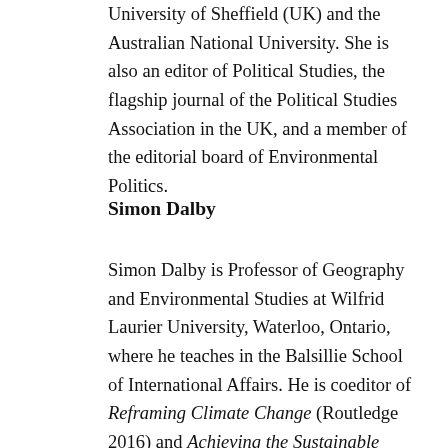University of Sheffield (UK) and the Australian National University. She is also an editor of Political Studies, the flagship journal of the Political Studies Association in the UK, and a member of the editorial board of Environmental Politics.
Simon Dalby
Simon Dalby is Professor of Geography and Environmental Studies at Wilfrid Laurier University, Waterloo, Ontario, where he teaches in the Balsillie School of International Affairs. He is coeditor of Reframing Climate Change (Routledge 2016) and Achieving the Sustainable Development Goals (Routledge 2019) and author of Environmental Security